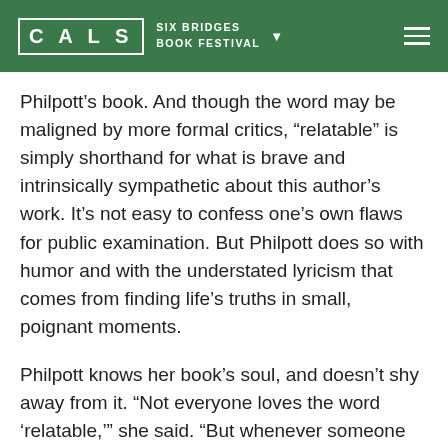CALS SIX BRIDGES BOOK FESTIVAL
Philpott's book. And though the word may be maligned by more formal critics, “relatable” is simply shorthand for what is brave and intrinsically sympathetic about this author’s work. It’s not easy to confess one’s own flaws for public examination. But Philpott does so with humor and with the understated lyricism that comes from finding life’s truths in small, poignant moments.
Philpott knows her book’s soul, and doesn’t shy away from it. “Not everyone loves the word ‘relatable,’” she said. “But whenever someone